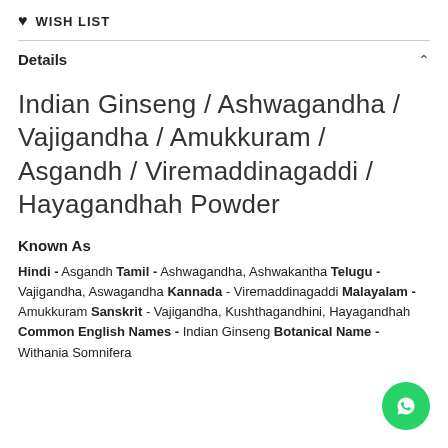♥ WISH LIST
Details
Indian Ginseng / Ashwagandha / Vajigandha / Amukkuram / Asgandh / Viremaddinagaddi / Hayagandhah Powder
Known As
Hindi - Asgandh Tamil - Ashwagandha, Ashwakantha Telugu - Vajigandha, Aswagandha Kannada - Viremaddinagaddi Malayalam - Amukkuram Sanskrit - Vajigandha, Kushthagandhini, Hayagandhah Common English Names - Indian Ginseng Botanical Name - Withania Somnifera